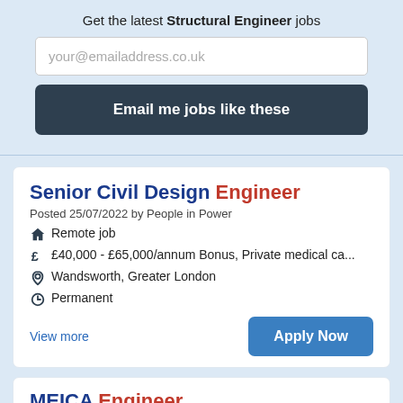Get the latest Structural Engineer jobs
your@emailaddress.co.uk
Email me jobs like these
Senior Civil Design Engineer
Posted 25/07/2022 by People in Power
Remote job
£40,000 - £65,000/annum Bonus, Private medical ca...
Wandsworth, Greater London
Permanent
View more
Apply Now
MEICA Engineer